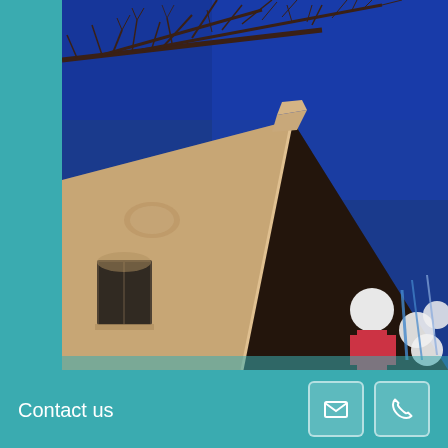[Figure (photo): Upward-angled photograph of the corner of a brick building against a deep blue sky, with bare tree branches visible at the top, and colorful signage or decorations partially visible at the lower right. The building corner is tan/sandstone colored on the left face and dark brick on the right face.]
Contact us